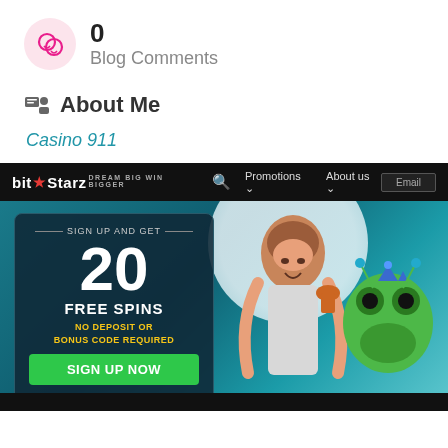0
Blog Comments
About Me
Casino 911
[Figure (screenshot): BitStarz casino website screenshot showing navigation bar with logo, Promotions and About us menus, and a promotional banner offering 20 Free Spins with no deposit or bonus code required, with a green Sign Up Now button. Cartoon characters visible on right side.]